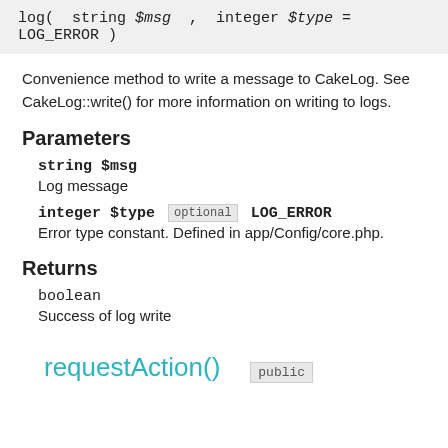Convenience method to write a message to CakeLog. See CakeLog::write() for more information on writing to logs.
Parameters
string $msg
Log message
integer $type optional LOG_ERROR
Error type constant. Defined in app/Config/core.php.
Returns
boolean
Success of log write
requestAction() public